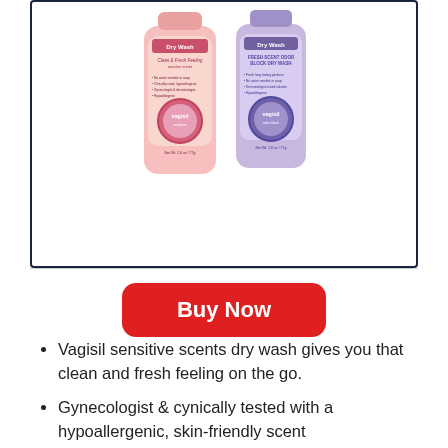[Figure (photo): Two Vagisil Dry Wash product bottles: one pink (Clean & Fresh Feeling) and one purple (Odor Block), shown side by side inside a bordered product box.]
Buy Now
Vagisil sensitive scents dry wash gives you that clean and fresh feeling on the go.
Gynecologist & cynically tested with a hypoallergenic, skin-friendly scent
Vagisil Odor Block Dry Wash Deodorant Spray helps stop odor